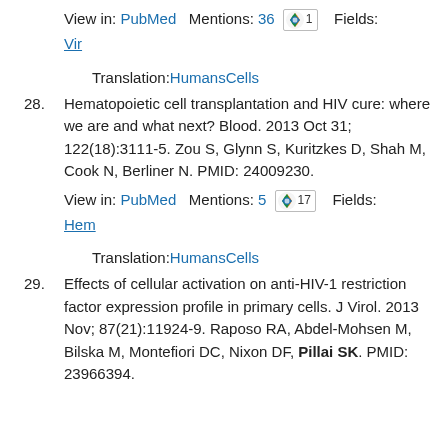View in: PubMed   Mentions: 36  [Altmetric 1]   Fields:
Vir
Translation:HumansCells
28.  Hematopoietic cell transplantation and HIV cure: where we are and what next? Blood. 2013 Oct 31; 122(18):3111-5. Zou S, Glynn S, Kuritzkes D, Shah M, Cook N, Berliner N. PMID: 24009230.
View in: PubMed   Mentions: 5  [Altmetric 17]   Fields: Hem
Translation:HumansCells
29.  Effects of cellular activation on anti-HIV-1 restriction factor expression profile in primary cells. J Virol. 2013 Nov; 87(21):11924-9. Raposo RA, Abdel-Mohsen M, Bilska M, Montefiori DC, Nixon DF, Pillai SK. PMID: 23966394.